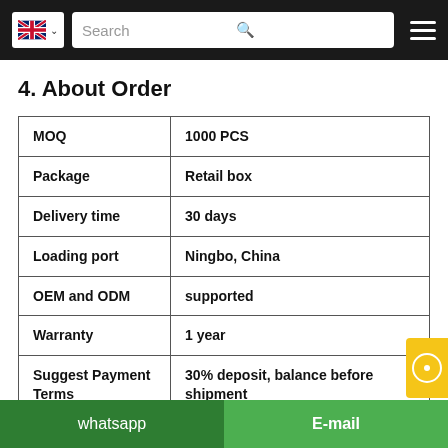Search bar with UK flag and hamburger menu
4. About Order
| MOQ | 1000 PCS |
| Package | Retail box |
| Delivery time | 30 days |
| Loading port | Ningbo, China |
| OEM and ODM | supported |
| Warranty | 1 year |
| Suggest Payment Terms | 30% deposit, balance before shipment |
| Suggest Incoterms | FOB |
whatsapp | E-mail